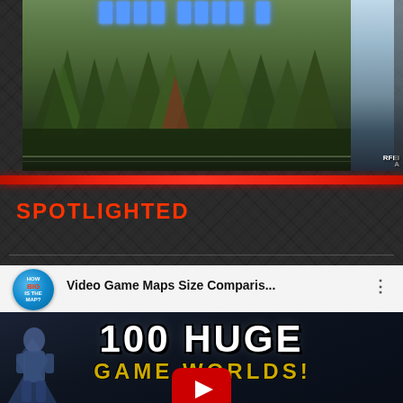[Figure (screenshot): Top portion showing a video game screenshot with forest/trees landscape and a blue glowing title text partially visible at top. A right-side strip shows another thumbnail partially. There is a red horizontal separator bar at the bottom of this section.]
SPOTLIGHTED
[Figure (screenshot): YouTube video listing card showing channel icon for 'HOW BIG IS THE MAP?' and video title 'Video Game Maps Size Comparis...' with three-dot menu icon. Below is a video thumbnail showing '100 HUGE GAME WORLDS!' text in white and gold on dark background with a YouTube play button icon and a character silhouette on the left.]